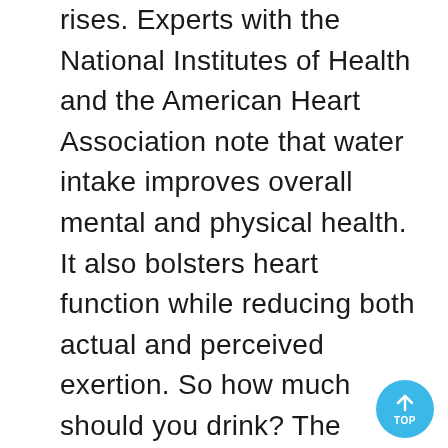rises. Experts with the National Institutes of Health and the American Heart Association note that water intake improves overall mental and physical health. It also bolsters heart function while reducing both actual and perceived exertion. So how much should you drink? The Institute of Medicine recommends that women drink 11 eight-ounce cups per day, equal to about 91 ounces.  Men need more: 15 cups per day—or a total of 125 ounces. If that sounds like a lot, know this: fluid from all foods and beverages, including those with caffeine, count toward the daily goal. To make sure you are always well